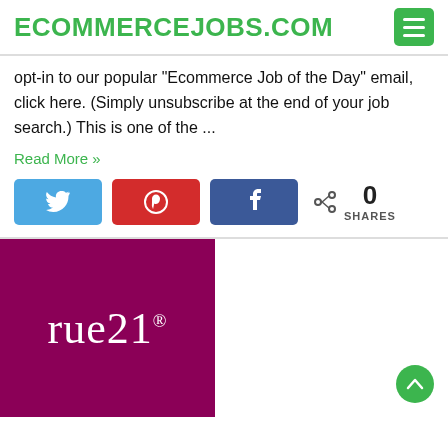ECOMMERCEJOBS.COM
opt-in to our popular “Ecommerce Job of the Day” email, click here. (Simply unsubscribe at the end of your job search.) This is one of the ...
Read More »
[Figure (infographic): Social share buttons: Twitter (blue), Pinterest (red), Facebook (dark blue), and a share count showing 0 SHARES]
[Figure (logo): rue21 logo on a dark magenta/purple background with white text]